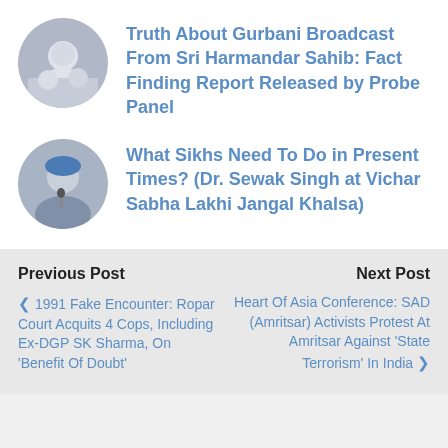[Figure (photo): Circular avatar photo showing people at what appears to be a press conference or gathering]
Truth About Gurbani Broadcast From Sri Harmandar Sahib: Fact Finding Report Released by Probe Panel
[Figure (photo): Circular avatar photo showing a Sikh man with turban speaking at a microphone]
What Sikhs Need To Do in Present Times? (Dr. Sewak Singh at Vichar Sabha Lakhi Jangal Khalsa)
Previous Post
Next Post
❮ 1991 Fake Encounter: Ropar Court Acquits 4 Cops, Including Ex-DGP SK Sharma, On 'Benefit Of Doubt'
Heart Of Asia Conference: SAD (Amritsar) Activists Protest At Amritsar Against 'State Terrorism' In India ❯